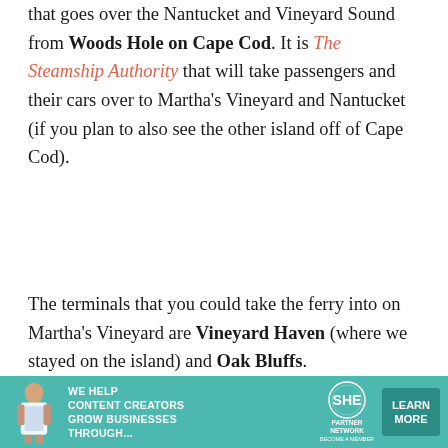that goes over the Nantucket and Vineyard Sound from Woods Hole on Cape Cod. It is The Steamship Authority that will take passengers and their cars over to Martha's Vineyard and Nantucket (if you plan to also see the other island off of Cape Cod).
The terminals that you could take the ferry into on Martha's Vineyard are Vineyard Haven (where we stayed on the island) and Oak Bluffs.
[Figure (photo): Top portion of a lighthouse against a pale blue-grey sky. The lighthouse has a white cylindrical tower with a dark lantern room and black railing at the top.]
[Figure (infographic): Advertisement banner for SHE Partner Network reading: WE HELP CONTENT CREATORS GROW BUSINESSES THROUGH... with a woman holding a tablet, the SHE logo, and a LEARN MORE button.]